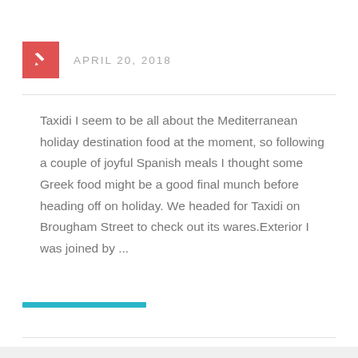APRIL 20, 2018
Taxidi I seem to be all about the Mediterranean holiday destination food at the moment, so following a couple of joyful Spanish meals I thought some Greek food might be a good final munch before heading off on holiday. We headed for Taxidi on Brougham Street to check out its wares.Exterior I was joined by ...